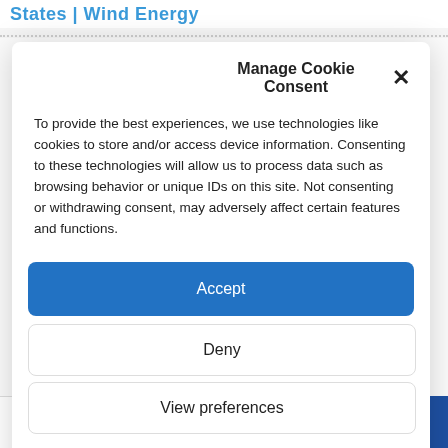States | Wind Energy
Manage Cookie Consent
To provide the best experiences, we use technologies like cookies to store and/or access device information. Consenting to these technologies will allow us to process data such as browsing behavior or unique IDs on this site. Not consenting or withdrawing consent, may adversely affect certain features and functions.
Accept
Deny
View preferences
Cookie Policy  Privacy policy
0 Shares